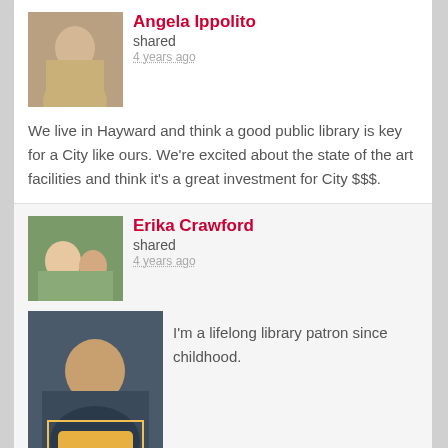Angela Ippolito
shared
4 years ago
We live in Hayward and think a good public library is key for a City like ours. We're excited about the state of the art facilities and think it's a great investment for City $$$.
Erika Crawford
shared
4 years ago
I'm a lifelong library patron since childhood.
Winnie Thompson
shared